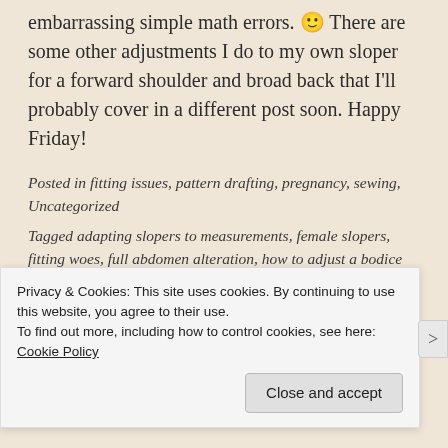embarrassing simple math errors. 🙂 There are some other adjustments I do to my own sloper for a forward shoulder and broad back that I'll probably cover in a different post soon. Happy Friday!
Posted in fitting issues, pattern drafting, pregnancy, sewing, Uncategorized
Tagged adapting slopers to measurements, female slopers, fitting woes, full abdomen alteration, how to adjust a bodice sloper, maternity bodice pattern, maternity pattern drafting, maternity sloper, pregnancy fitting, pregnancy pattern drafting, pregnancy sloper, sloper adjustments, using slopers for fitting
Privacy & Cookies: This site uses cookies. By continuing to use this website, you agree to their use.
To find out more, including how to control cookies, see here: Cookie Policy